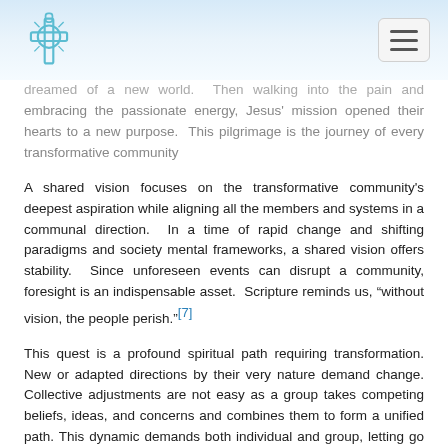[Navigation header with Celtic cross logo and menu button]
dreamed of a new world.  Then walking into the pain and embracing the passionate energy, Jesus' mission opened their hearts to a new purpose.  This pilgrimage is the journey of every transformative community
A shared vision focuses on the transformative community's deepest aspiration while aligning all the members and systems in a communal direction.  In a time of rapid change and shifting paradigms and society mental frameworks, a shared vision offers stability.  Since unforeseen events can disrupt a community, foresight is an indispensable asset.  Scripture reminds us, “without vision, the people perish.”[7]
This quest is a profound spiritual path requiring transformation. New or adapted directions by their very nature demand change. Collective adjustments are not easy as a group takes competing beliefs, ideas, and concerns and combines them to form a unified path. This dynamic demands both individual and group, letting go to create